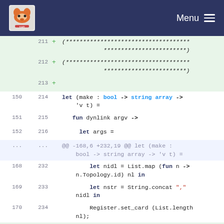Menu
[Figure (screenshot): Code diff view showing OCaml source code lines 211–236, with added lines (green background) and context lines. Lines 211-213 and 235-236 are additions (+). Lines 214-216 show 'let (make : bool -> string array -> v t) = fun dynlink argv -> let args ='. Lines 168-170/232-234 show let nidl, let nstr, and Register.set_card calls. A hunk header shows @@ -168,6 +232,19 @@ let (make : bool -> string array -> 'v t) =.]